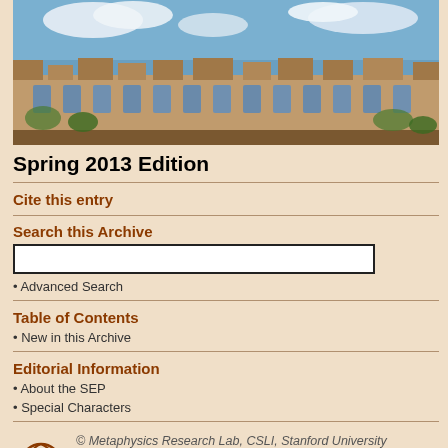[Figure (photo): Aerial or exterior photograph of a historic stone university building (likely Oxford or Cambridge style) with gothic architecture under a blue sky with clouds]
Spring 2013 Edition
Cite this entry
Search this Archive
Advanced Search
Table of Contents
New in this Archive
Editorial Information
About the SEP
Special Characters
© Metaphysics Research Lab, CSLI, Stanford University
mastery. With advances in syntax and semantics came the realization that knowing a language was not merely a matter of associating words with concepts. It also crucially involves knowledge of how to put words together, for it's typically sentences that we use to express our thoughts, not words in isolation.
If that's the case, though, language mastery can be no simple matter. Modern linguistic theories have shown that human languages are vastly complex objects. The syntactic rules governing sentence formation and the semantic